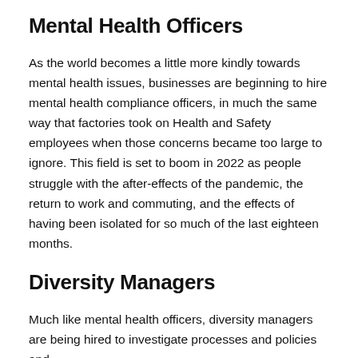Mental Health Officers
As the world becomes a little more kindly towards mental health issues, businesses are beginning to hire mental health compliance officers, in much the same way that factories took on Health and Safety employees when those concerns became too large to ignore. This field is set to boom in 2022 as people struggle with the after-effects of the pandemic, the return to work and commuting, and the effects of having been isolated for so much of the last eighteen months.
Diversity Managers
Much like mental health officers, diversity managers are being hired to investigate processes and policies and